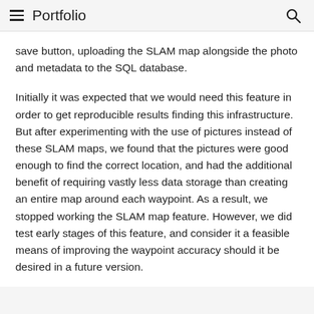Portfolio
save button, uploading the SLAM map alongside the photo and metadata to the SQL database.
Initially it was expected that we would need this feature in order to get reproducible results finding this infrastructure. But after experimenting with the use of pictures instead of these SLAM maps, we found that the pictures were good enough to find the correct location, and had the additional benefit of requiring vastly less data storage than creating an entire map around each waypoint. As a result, we stopped working the SLAM map feature. However, we did test early stages of this feature, and consider it a feasible means of improving the waypoint accuracy should it be desired in a future version.